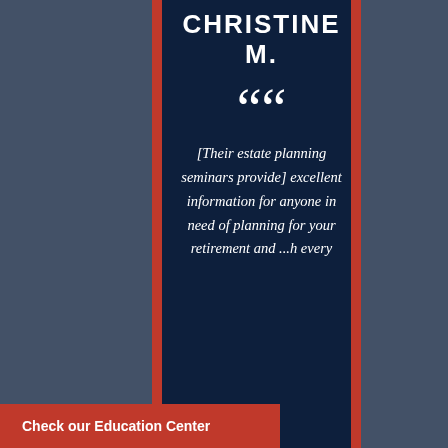CHRISTINE M.
““
[Their estate planning seminars provide] excellent information for anyone in need of planning for your retirement and ...h every
Check our Education Center